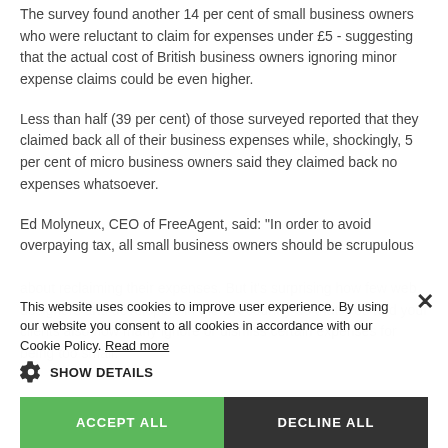The survey found another 14 per cent of small business owners who were reluctant to claim for expenses under £5 - suggesting that the actual cost of British business owners ignoring minor expense claims could be even higher.
Less than half (39 per cent) of those surveyed reported that they claimed back all of their business expenses while, shockingly, 5 per cent of micro business owners said they claimed back no expenses whatsoever.
Ed Molyneux, CEO of FreeAgent, said: “In order to avoid overpaying tax, all small business owners should be scrupulous about reclaiming their expenses. But it’s surprising how few web designers and developers in the UK country do that. You and your clients also how many ignore or dismiss certain expenses for being too small.
This website uses cookies to improve user experience. By using our website you consent to all cookies in accordance with our Cookie Policy. Read more
SHOW DETAILS
ACCEPT ALL
DECLINE ALL